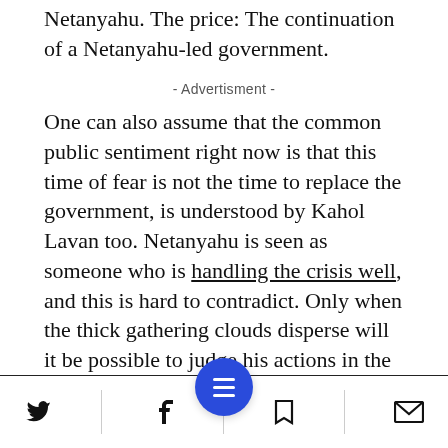Netanyahu. The price: The continuation of a Netanyahu-led government.
- Advertisment -
One can also assume that the common public sentiment right now is that this time of fear is not the time to replace the government, is understood by Kahol Lavan too. Netanyahu is seen as someone who is handling the crisis well, and this is hard to contradict. Only when the thick gathering clouds disperse will it be possible to judge his actions in the face of the coronavirus. In the meantime, the trust of a
[Twitter] [Facebook] [Menu] [Bookmark] [Mail]